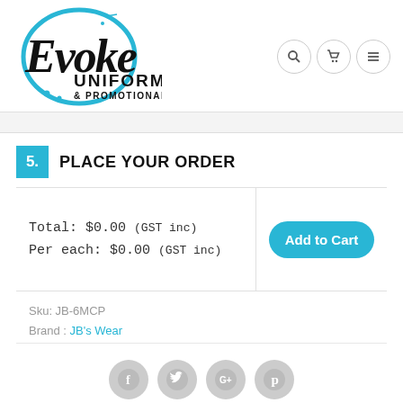[Figure (logo): Evoke Uniforms & Promotional logo with blue circle and black cursive/bold text]
[Figure (infographic): Navigation icons: search, cart, hamburger menu — circular bordered buttons]
5. PLACE YOUR ORDER
Total: $0.00 (GST inc)
Per each: $0.00 (GST inc)
Add to Cart
Sku: JB-6MCP
Brand : JB's Wear
[Figure (infographic): Social media share icons: Facebook, Twitter, Google+, Pinterest — gray circular buttons]